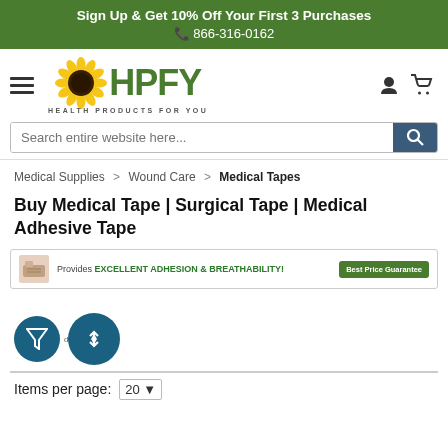Sign Up & Get 10% Off Your First 3 Purchases
☎ 866-316-0162
[Figure (logo): HPFY Health Products For You logo with sunflower]
Search entire website here...
Medical Supplies > Wound Care > Medical Tapes
Buy Medical Tape | Surgical Tape | Medical Adhesive Tape
[Figure (infographic): Promo banner: Provides EXCELLENT ADHESION & BREATHABILITY! Best Price Guarantee]
Items per page: 20